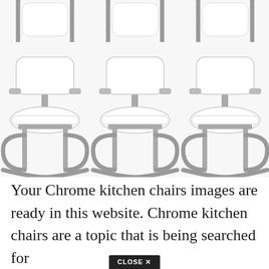[Figure (photo): Six chrome cantilever kitchen chairs with white upholstery, arranged in two rows of three. The chairs have a distinctive curved chrome frame with a circular base and white padded seat and back.]
Your Chrome kitchen chairs images are ready in this website. Chrome kitchen chairs are a topic that is being searched for
[Figure (other): Close X button overlay at the bottom center of the page]